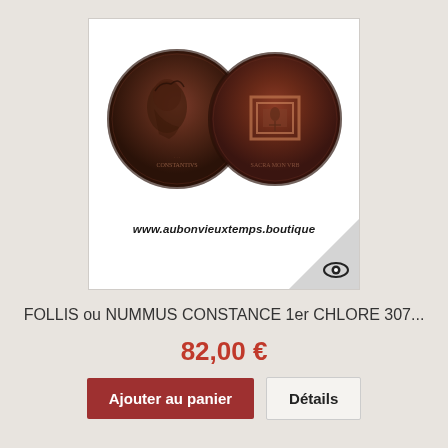[Figure (photo): Two ancient Roman coins (follis/nummus) shown side by side - obverse showing emperor portrait and reverse showing architectural design. Watermark 'www.aubonvieuxtemps.boutique' overlaid. Corner triangle with eye icon for preview.]
FOLLIS ou NUMMUS CONSTANCE 1er CHLORE 307...
82,00 €
Ajouter au panier
Détails